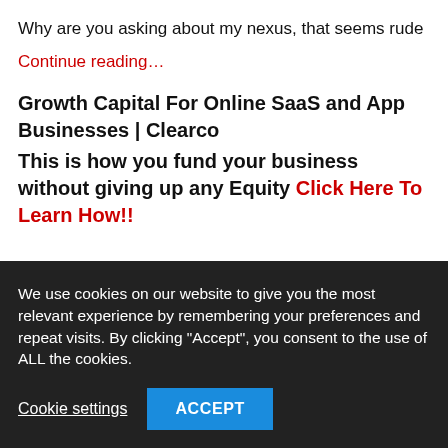Why are you asking about my nexus, that seems rude
Continue reading…
Growth Capital For Online SaaS and App Businesses | Clearco
This is how you fund your business without giving up any Equity Click Here To Learn How!!
We use cookies on our website to give you the most relevant experience by remembering your preferences and repeat visits. By clicking "Accept", you consent to the use of ALL the cookies.
Cookie settings
ACCEPT